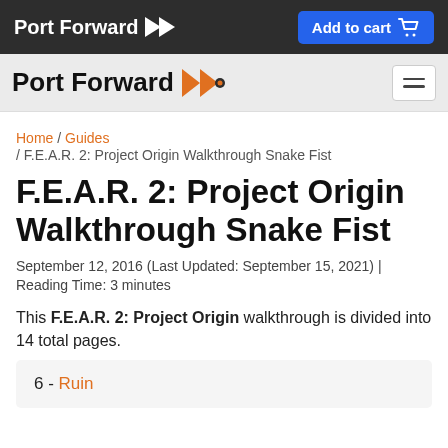Port Forward | Add to cart
Port Forward
Home / Guides / F.E.A.R. 2: Project Origin Walkthrough Snake Fist
F.E.A.R. 2: Project Origin Walkthrough Snake Fist
September 12, 2016 (Last Updated: September 15, 2021) | Reading Time: 3 minutes
This F.E.A.R. 2: Project Origin walkthrough is divided into 14 total pages.
6 - Ruin